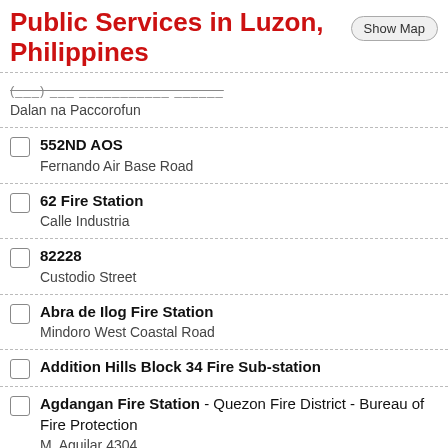Public Services in Luzon, Philippines
552ND AOS
Fernando Air Base Road
62 Fire Station
Calle Industria
82228
Custodio Street
Abra de Ilog Fire Station
Mindoro West Coastal Road
Addition Hills Block 34 Fire Sub-station
Agdangan Fire Station - Quezon Fire District - Bureau of Fire Protection
M. Aguilar 4304
Agham Fire Station - Quezon City Fire District - Bureau of Fire Protection
Agham Road 1105 Quezon City